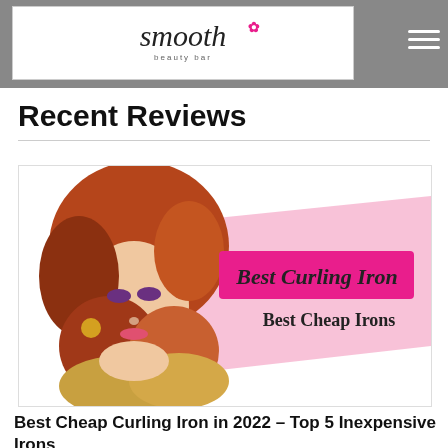smooth beauty bar
Recent Reviews
[Figure (illustration): Promotional image showing a young woman with curly auburn/blonde hair against a white and pink diagonal background. Text overlays read 'Best Curling Iron' in cursive pink script and 'Best Cheap Irons' in dark serif text.]
Best Cheap Curling Iron in 2022 – Top 5 Inexpensive Irons